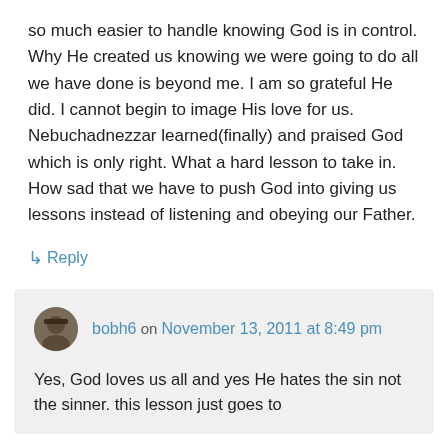so much easier to handle knowing God is in control. Why He created us knowing we were going to do all we have done is beyond me. I am so grateful He did. I cannot begin to image His love for us. Nebuchadnezzar learned(finally) and praised God which is only right. What a hard lesson to take in. How sad that we have to push God into giving us lessons instead of listening and obeying our Father.
↳ Reply
bobh6 on November 13, 2011 at 8:49 pm
Yes, God loves us all and yes He hates the sin not the sinner. this lesson just goes to